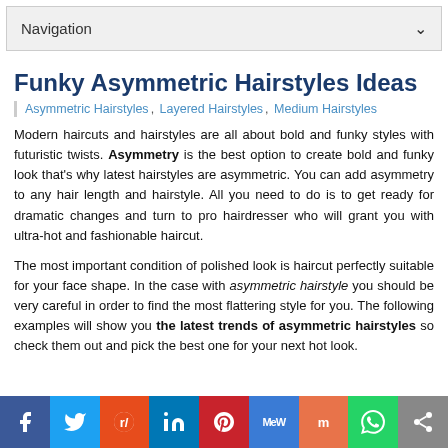Navigation
Funky Asymmetric Hairstyles Ideas
Asymmetric Hairstyles, Layered Hairstyles, Medium Hairstyles
Modern haircuts and hairstyles are all about bold and funky styles with futuristic twists. Asymmetry is the best option to create bold and funky look that's why latest hairstyles are asymmetric. You can add asymmetry to any hair length and hairstyle. All you need to do is to get ready for dramatic changes and turn to pro hairdresser who will grant you with ultra-hot and fashionable haircut.
The most important condition of polished look is haircut perfectly suitable for your face shape. In the case with asymmetric hairstyle you should be very careful in order to find the most flattering style for you. The following examples will show you the latest trends of asymmetric hairstyles so check them out and pick the best one for your next hot look.
Social sharing bar: Facebook, Twitter, Reddit, LinkedIn, Pinterest, MeWe, Mix, WhatsApp, Share